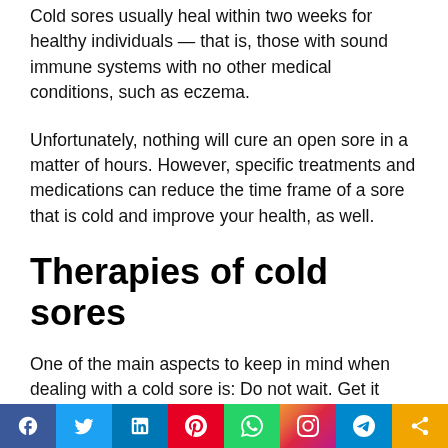Cold sores usually heal within two weeks for healthy individuals — that is, those with sound immune systems with no other medical conditions, such as eczema.
Unfortunately, nothing will cure an open sore in a matter of hours. However, specific treatments and medications can reduce the time frame of a sore that is cold and improve your health, as well.
Therapies of cold sores
One of the main aspects to keep in mind when dealing with a cold sore is: Do not wait. Get it treated immediately, and you might be able to reduce the duration of the. If you
[Figure (infographic): Social media sharing bar with icons for Facebook, Twitter, LinkedIn, Pinterest, WhatsApp, Instagram, Telegram, and Share]